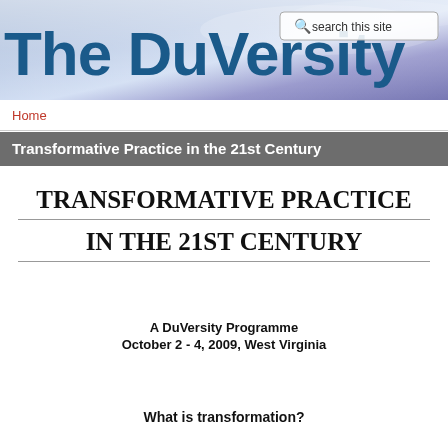[Figure (illustration): The DuVersity website header banner with blue gradient background and large logo text reading 'The DuVersity' with a search box in the top right corner]
Home
Transformative Practice in the 21st Century
TRANSFORMATIVE PRACTICE IN THE 21ST CENTURY
A DuVersity Programme
October 2 - 4, 2009, West Virginia
What is transformation?